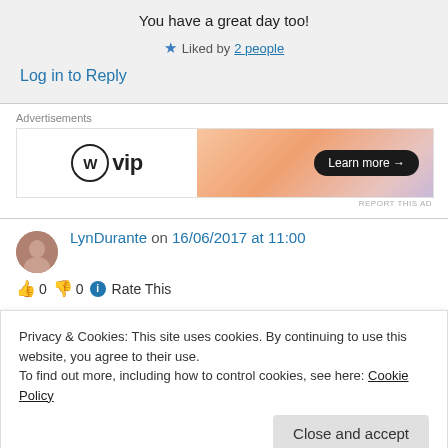You have a great day too!
★ Liked by 2 people
Log in to Reply
Advertisements
[Figure (illustration): WordPress VIP advertisement banner with orange gradient background and 'Learn more →' button]
REPORT THIS AD
LynDurante on 16/06/2017 at 11:00
👍 0 👎 0 ℹ Rate This
Privacy & Cookies: This site uses cookies. By continuing to use this website, you agree to their use.
To find out more, including how to control cookies, see here: Cookie Policy
Close and accept
LynDurante.com) I share your passion for